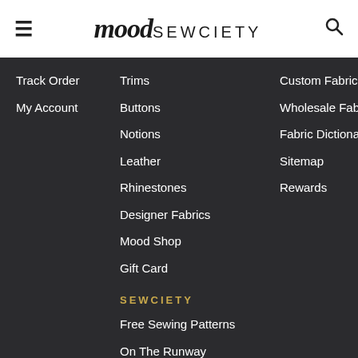mood SEWCIETY
Track Order
My Account
Trims
Buttons
Notions
Leather
Rhinestones
Designer Fabrics
Mood Shop
Gift Card
Custom Fabric Printing
Wholesale Fabrics
Fabric Dictionary
Sitemap
Rewards
SEWCIETY
Free Sewing Patterns
On The Runway